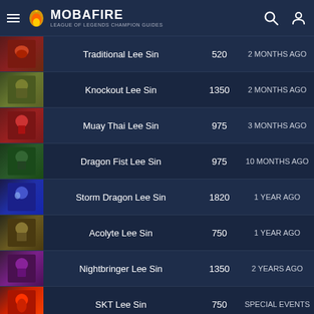MOBAFIRE – LEAGUE OF LEGENDS CHAMPION GUIDES
| Skin | Name | Price | When |
| --- | --- | --- | --- |
| [img] | Traditional Lee Sin | 520 | 2 MONTHS AGO |
| [img] | Knockout Lee Sin | 1350 | 2 MONTHS AGO |
| [img] | Muay Thai Lee Sin | 975 | 3 MONTHS AGO |
| [img] | Dragon Fist Lee Sin | 975 | 10 MONTHS AGO |
| [img] | Storm Dragon Lee Sin | 1820 | 1 YEAR AGO |
| [img] | Acolyte Lee Sin | 750 | 1 YEAR AGO |
| [img] | Nightbringer Lee Sin | 1350 | 2 YEARS AGO |
| [img] | SKT Lee Sin | 750 | SPECIAL EVENTS |